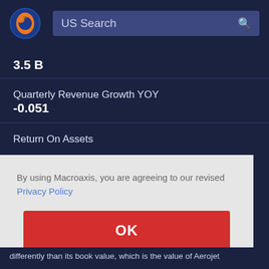[Figure (logo): Macroaxis globe logo with orange and blue colors]
US Search
3.5 B
Quarterly Revenue Growth YOY
-0.051
Return On Assets
By using Macroaxis, you are agreeing to our revised Privacy Policy
OK
differently than its book value, which is the value of Aerojet